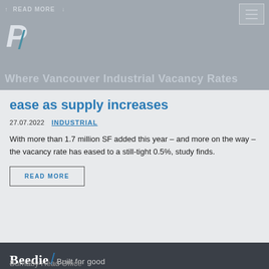READ MORE
[Figure (logo): Beedie P-slash logo mark in header navigation bar]
ease as supply increases
27.07.2022   INDUSTRIAL
With more than 1.7 million SF added this year – and more on the way – the vacancy rate has eased to a still-tight 0.5%, study finds.
READ MORE
[Figure (logo): Beedie / Built for good logo in dark footer]
Burnaby Head Office